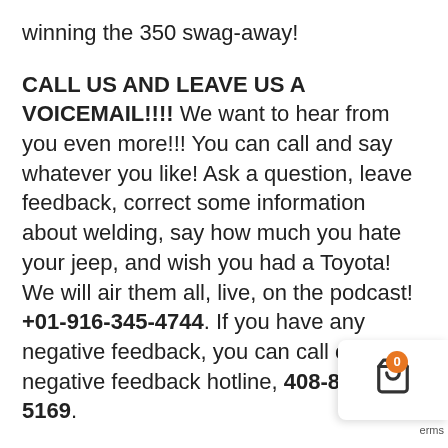winning the 350 swag-away!
CALL US AND LEAVE US A VOICEMAIL!!!! We want to hear from you even more!!! You can call and say whatever you like! Ask a question, leave feedback, correct some information about welding, say how much you hate your jeep, and wish you had a Toyota! We will air them all, live, on the podcast! +01-916-345-4744. If you have any negative feedback, you can call our negative feedback hotline, 408-800-5169.
Episode 299 is brought to you by all of our peeps over at patreon.com and irate4x4! Make sure to stop by and see all of the great perks you get for supporting SnailTrail4x4! Discount Codes, Monthly Give-Aways, Gift Boxes, the SnailTrail4x4 Community, and the ST Treasure Hunt! Thank you to all of those that su...